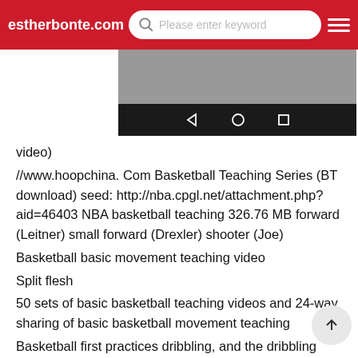estherbonte.com | Please enter keyword
[Figure (screenshot): Mobile phone screenshot showing a video player with black navigation bar at bottom containing back, home, and recent apps icons]
video)
//www.hoopchina. Com Basketball Teaching Series (BT download) seed: http://nba.cpgl.net/attachment.php?aid=46403 NBA basketball teaching 326.76 MB forward (Leitner) small forward (Drexler) shooter (Joe)
Basketball basic movement teaching video
Split flesh
50 sets of basic basketball teaching videos and 24-way sharing of basic basketball movement teaching
Basketball first practices dribbling, and the dribbling force controls the direction. It is necessary to pay attention to arm first, then the wrist, and then the fingers. Basically, it is necessary to press the wrist after the arm is completely